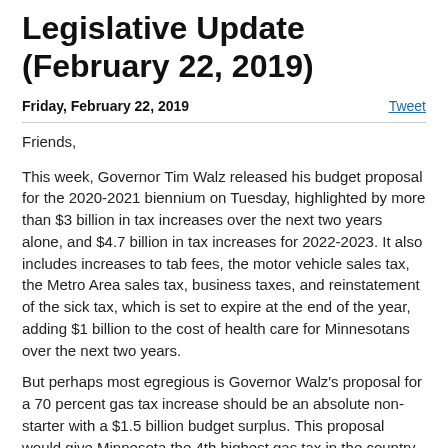Legislative Update (February 22, 2019)
Friday, February 22, 2019
Tweet
Friends,
This week, Governor Tim Walz released his budget proposal for the 2020-2021 biennium on Tuesday, highlighted by more than $3 billion in tax increases over the next two years alone, and $4.7 billion in tax increases for 2022-2023. It also includes increases to tab fees, the motor vehicle sales tax, the Metro Area sales tax, business taxes, and reinstatement of the sick tax, which is set to expire at the end of the year, adding $1 billion to the cost of health care for Minnesotans over the next two years.
But perhaps most egregious is Governor Walz's proposal for a 70 percent gas tax increase should be an absolute non-starter with a $1.5 billion budget surplus. This proposal would give Minnesota the 4th highest gas tax in the country and hurt every